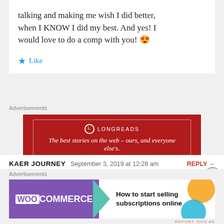talking and making me wish I did better, when I KNOW I did my best. And yes! I would love to do a comp with you! 😍
★ Like
Advertisements
[Figure (screenshot): Longreads advertisement banner: red background with white border and text 'LONGREADS – The best stories on the web – ours, and everyone else's.']
REPORT THIS AD
KAER JOURNEY   September 3, 2019 at 12:28 am   REPLY →
It was amazing to what you've been through. I also took a snapshot of your thought about a
Advertisements
[Figure (screenshot): WooCommerce advertisement: purple background with WOO COMMERCE logo and teal arrow, text 'How to start selling subscriptions online' with orange and blue decorative blobs.]